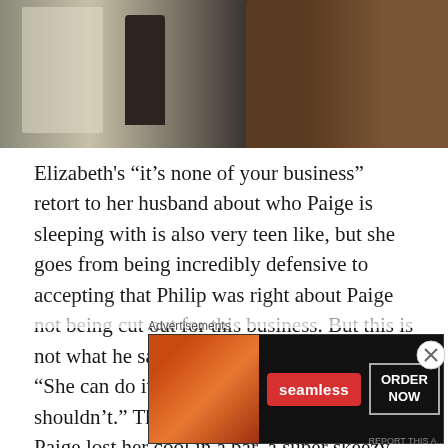[Figure (photo): A dark indoor scene showing a person in dark clothing standing near a window with curtains, a plant visible, and another person with brown hair in the foreground right]
Elizabeth's “it’s none of your business” retort to her husband about who Paige is sleeping with is also very teen like, but she goes from being incredibly defensive to accepting that Philip was right about Paige not being cut out for this business. But this is not what he said, he reiterates this by saying “She can do it, my point was always that she shouldn’t.” This argument starts because Paige lost her cool in a bar, a super skeezy guy laid his hands on her so she reacted. But this was impulsive, drawing unwanted attention that could put the entire famil
Advertisements
[Figure (photo): Seamless food delivery advertisement banner showing pizza slices, Seamless logo in red, and ORDER NOW button]